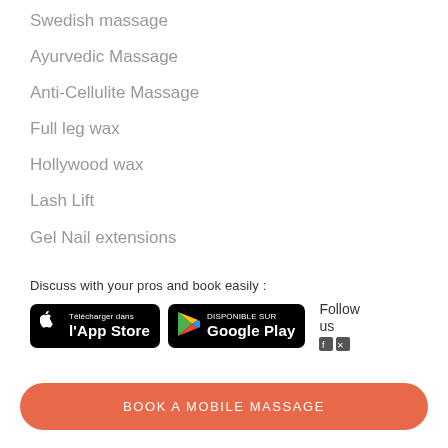Swedish massage
Ayurvedic Massage
Anti-Cellulite Massage
Full leg wax
Hollywood wax
Lash Lift
Gel Nail extensions
Discuss with your pros and book easily :
[Figure (screenshot): App Store download button (Télécharger dans l'App Store) and Google Play store button (DISPONIBLE SUR Google Play), with Follow us text and social media icons]
BOOK A MOBILE MASSAGE